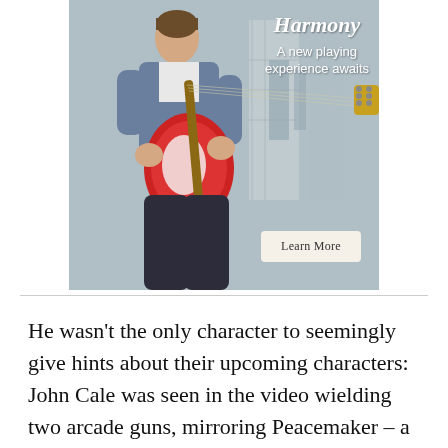[Figure (photo): Advertisement for Harmony guitars. A young man in a denim jacket sits playing a red and white electric guitar. Text overlay reads 'Harmony' in italic script and 'A new playing experience awaits'. A 'Learn More' button is visible in the lower right of the ad.]
He wasn't the only character to seemingly give hints about their upcoming characters: John Cale was seen in the video wielding two arcade guns, mirroring Peacemaker – a character who wields two guns the the comic book franchise.